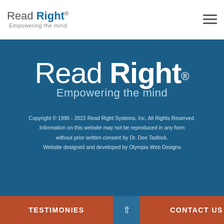Read Right® Empowering the mind
Read Right® Empowering the mind
Copyright © 1995 - 2022 Read Right Systems, Inc. All Rights Reserved. Information on this website may not be reproduced in any form without prior written consent by Dr. Dee Tadlock. Website designed and developed by Olympia Web Designs
TESTIMONIES
CONTACT US